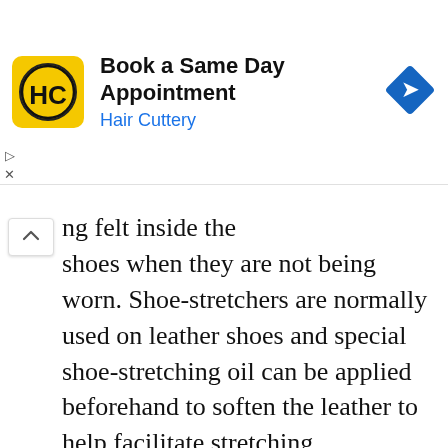[Figure (screenshot): Advertisement banner for Hair Cuttery. Shows a yellow square logo with 'HC' text, the headline 'Book a Same Day Appointment', subtitle 'Hair Cuttery' in blue, and a blue diamond navigation icon on the right.]
ng felt inside the shoes when they are not being worn. Shoe-stretchers are normally used on leather shoes and special shoe-stretching oil can be applied beforehand to soften the leather to help facilitate stretching.